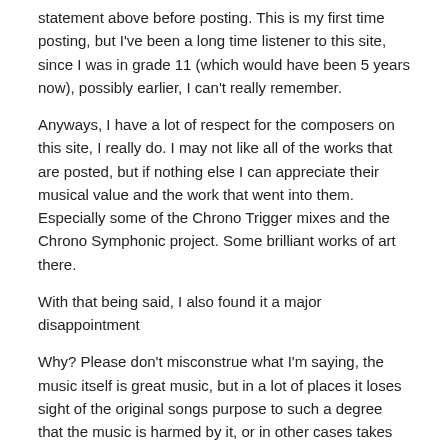statement above before posting. This is my first time posting, but I've been a long time listener to this site, since I was in grade 11 (which would have been 5 years now), possibly earlier, I can't really remember.
Anyways, I have a lot of respect for the composers on this site, I really do. I may not like all of the works that are posted, but if nothing else I can appreciate their musical value and the work that went into them. Especially some of the Chrono Trigger mixes and the Chrono Symphonic project. Some brilliant works of art there.
With that being said, I also found it a major disappointment
Why? Please don't misconstrue what I'm saying, the music itself is great music, but in a lot of places it loses sight of the original songs purpose to such a degree that the music is harmed by it, or in other cases takes too much liberty with already great music. I found this worked on some tracks (I LOVED the remix of the ocean palace song), and failed horribly to recreate the song in other places (Last battle for me was a particular disappointment). There was too much liberty taken and in the end, I found it killed the song.
The music itself is gold, and from what I've seen on the site, orchestral songs with a bit of remixing (IE some of Jeremy Robsons brilliant works)